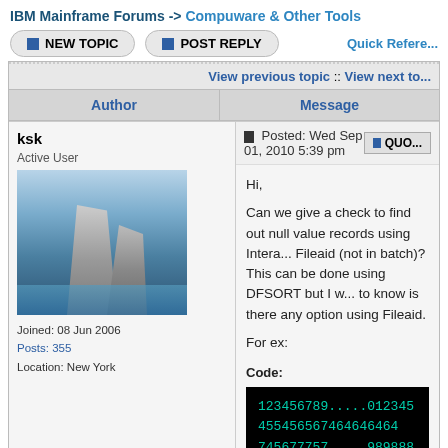IBM Mainframe Forums -> Compuware & Other Tools
NEW TOPIC   POST REPLY   Quick Refe...
View previous topic :: View next to...
| Author | Message |
| --- | --- |
| ksk
Active User
Joined: 08 Jun 2006
Posts: 355
Location: New York | Posted: Wed Sep 01, 2010 5:39 pm

Hi,

Can we give a check to find out null value records using Intera... Fileaid (not in batch)? This can be done using DFSORT but I w... to know is there any option using Fileaid.

For ex:

Code:
123456789.....012345
455456567464646464
745677757.....989888 |